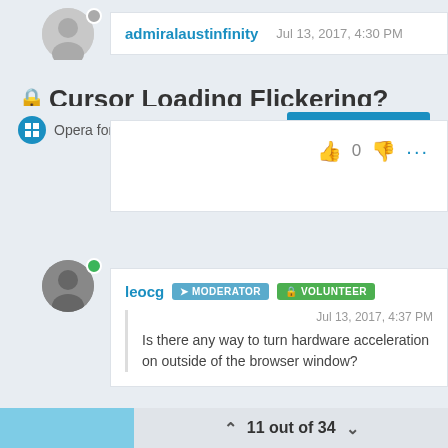admiralaustinfinity   Jul 13, 2017, 4:30 PM
🔒Cursor Loading Flickering?
Opera for Windows
Log in to reply
0
leocg  MODERATOR  VOLUNTEER
Jul 13, 2017, 4:37 PM
Is there any way to turn hardware acceleration on outside of the browser window?
11 out of 34